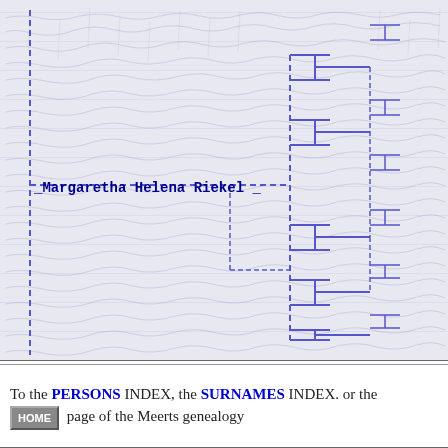[Figure (organizational-chart): Genealogy/family tree diagram for Margaretha Helena Riekel shown as a branching pedigree chart with dashed lines on a handwritten manuscript background. The name 'Margaretha Helena Riekel' appears as a bold monospace label on the left side of the chart.]
To the PERSONS INDEX, the SURNAMES INDEX. or the HOME page of the Meerts genealogy